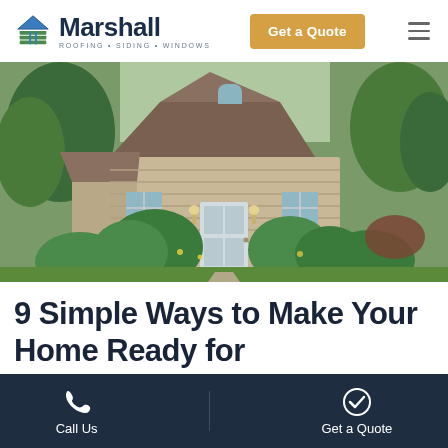Marshall Roofing · Siding · Windows — Get a Quote
[Figure (photo): Exterior photo of a residential home with tan vinyl siding, peaked roof with brown shingles, white front door, and lush green landscaping with shrubs and trees.]
9 Simple Ways to Make Your Home Ready for
Call Us | Get a Quote